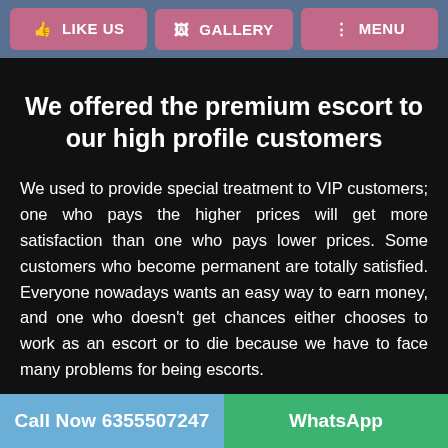LIKE US | GALLERY | MENU
We offered the premium escort to our high profile customers
We used to provide special treatment to VIP customers; one who pays the higher prices will get more satisfaction than one who pays lower prices. Some customers who become permanent are totally satisfied. Everyone nowadays wants an easy way to earn money, and one who doesn't get chances either chooses to work as an escort or to die because we have to face many problems for being escorts.
The customers who are somehow irritated from their life come to us and are ready to pay as much as we want so it's our duty to get them satisfied in their leisure time and ensure our services are the best.
Call Now 6355507247 | WhatsApp